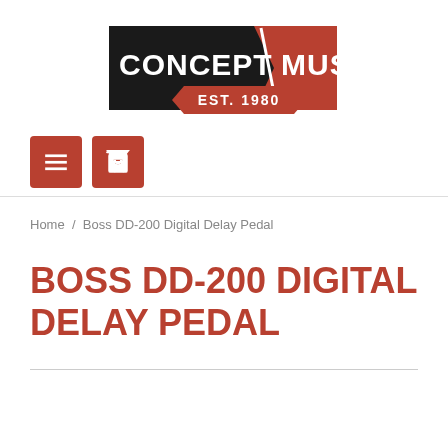[Figure (logo): Concept Music logo with black background on left reading CONCEPT in white bold, red diagonal banner reading MUSIC in white bold, and a red ribbon banner below reading EST. 1980]
[Figure (other): Two red square navigation buttons: a hamburger menu icon and a shopping cart icon]
Home / Boss DD-200 Digital Delay Pedal
BOSS DD-200 DIGITAL DELAY PEDAL